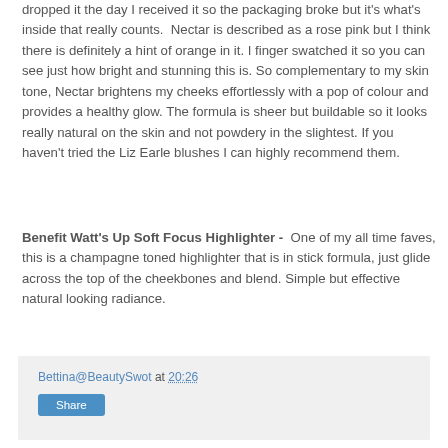dropped it the day I received it so the packaging broke but it's what's inside that really counts.  Nectar is described as a rose pink but I think there is definitely a hint of orange in it. I finger swatched it so you can see just how bright and stunning this is. So complementary to my skin tone, Nectar brightens my cheeks effortlessly with a pop of colour and provides a healthy glow. The formula is sheer but buildable so it looks really natural on the skin and not powdery in the slightest. If you haven't tried the Liz Earle blushes I can highly recommend them.
Benefit Watt's Up Soft Focus Highlighter - One of my all time faves, this is a champagne toned highlighter that is in stick formula, just glide across the top of the cheekbones and blend. Simple but effective natural looking radiance.
Bettina@BeautySwot at 20:26  Share